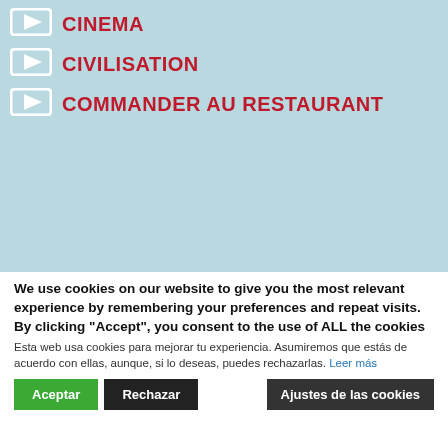CINEMA
CIVILISATION
COMMANDER AU RESTAURANT
We use cookies on our website to give you the most relevant experience by remembering your preferences and repeat visits. By clicking "Accept", you consent to the use of ALL the cookies
Esta web usa cookies para mejorar tu experiencia. Asumiremos que estás de acuerdo con ellas, aunque, si lo deseas, puedes rechazarlas. Leer más
Aceptar | Rechazar | Ajustes de las cookies